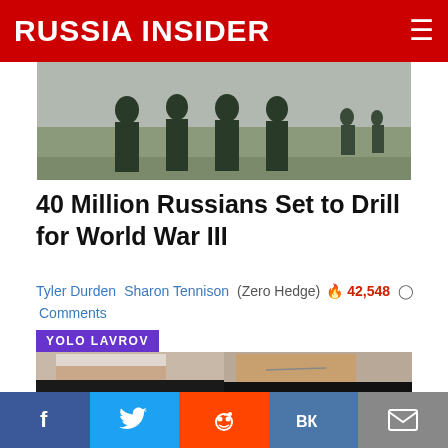RUSSIA INSIDER
[Figure (photo): Top photo showing silhouettes of people in military-style outfits outdoors]
40 Million Russians Set to Drill for World War III
Tyler Durden  Sharon Tennison  (Zero Hedge) 🔥 42,548 💬 Comments
YOLO LAVROV
[Figure (photo): Split photo: left side shows a man with eyes closed frowning (resembling Mike Pence), right side shows a smiling man with glasses (resembling Sergey Lavrov)]
f  Twitter  Reddit  VK  Email